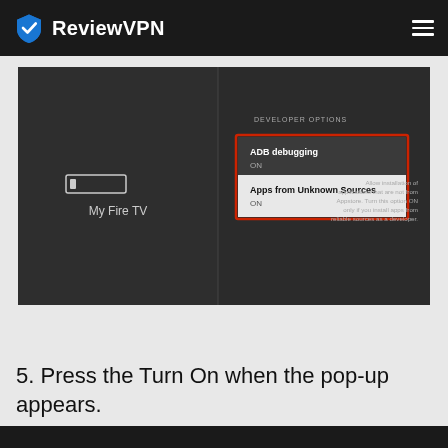ReviewVPN
[Figure (screenshot): Fire TV Developer Options screen showing 'ADB debugging ON' and 'Apps from Unknown Sources ON' with a red highlight box around both options. Right side shows description text: 'Allow installation of applications that are not from Appstore. Turn this option ON only if you install apps from reliable sources as a developer.' Left side shows 'My Fire TV' menu item.]
5. Press the Turn On when the pop-up appears.